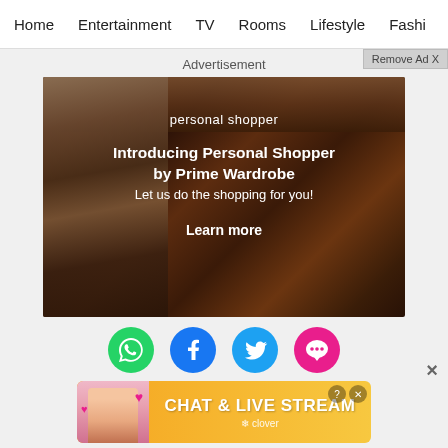Home  Entertainment  TV  Rooms  Lifestyle  Fashion
Remove Ad X
Advertisement
[Figure (photo): Amazon Prime Wardrobe advertisement showing clothes hanging in a wooden wardrobe/room. Text overlay reads: 'personal shopper / Introducing Personal Shopper by Prime Wardrobe / Let us do the shopping for you! / Learn more']
[Figure (infographic): Row of four social sharing icons: WhatsApp (green), Facebook (blue), Twitter (blue), Chat/messaging (pink)]
[Figure (photo): Bottom banner advertisement: 'CHAT & LIVE STREAM' by Clover, with orange/yellow gradient background and woman photo on left with heart decorations]